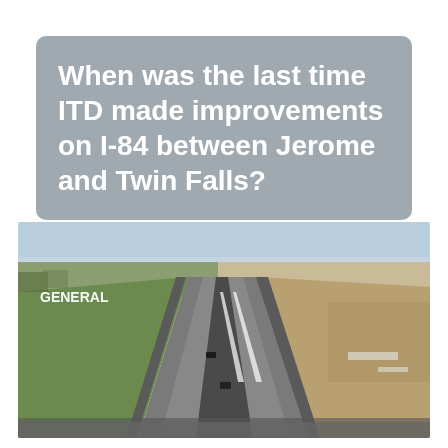When was the last time ITD made improvements on I-84 between Jerome and Twin Falls?
[Figure (photo): Aerial drone photo of Interstate 84 highway between Jerome and Twin Falls, Idaho. Shows a multi-lane highway stretching into the distance with flat agricultural land on both sides. A label reading 'GENERAL' is overlaid on the left side of the image.]